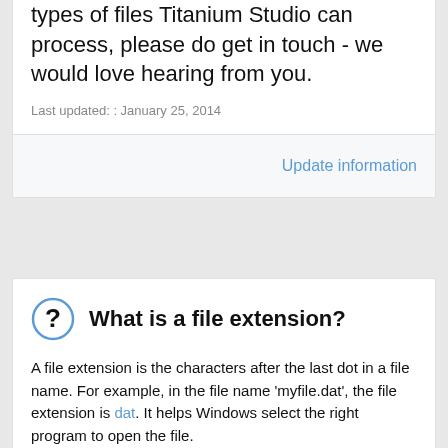types of files Titanium Studio can process, please do get in touch - we would love hearing from you.
Last updated: : January 25, 2014
Update information
What is a file extension?
A file extension is the characters after the last dot in a file name. For example, in the file name 'myfile.dat', the file extension is dat. It helps Windows select the right program to open the file.